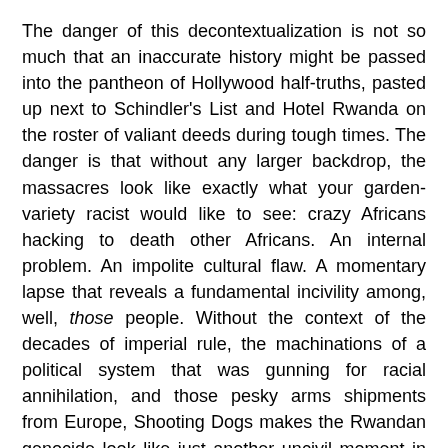The danger of this decontextualization is not so much that an inaccurate history might be passed into the pantheon of Hollywood half-truths, pasted up next to Schindler's List and Hotel Rwanda on the roster of valiant deeds during tough times. The danger is that without any larger backdrop, the massacres look like exactly what your garden-variety racist would like to see: crazy Africans hacking to death other Africans. An internal problem. An impolite cultural flaw. A momentary lapse that reveals a fundamental incivility among, well, those people. Without the context of the decades of imperial rule, the machinations of a political system that was gunning for racial annihilation, and those pesky arms shipments from Europe, Shooting Dogs makes the Rwandan genocide look like just another uncivil moment in the proverbial heart of darkness that western nations love to ascribe to Africa and Africans.
If there is one redeeming moment, it is a startlingly honest dialogue between the young school teacher and a BBC reporter who has come to gather cinematic evidence of the murders. The reporter, a white woman, tells the school